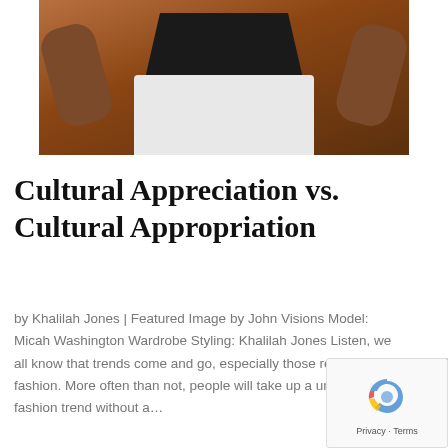[Figure (photo): Cropped photo of a person wearing a black leather top and white shorts against a brown background, arms raised]
Cultural Appreciation vs. Cultural Appropriation
by Khalilah Jones | Featured Image by John Visions Model: Micah Washington Wardrobe Styling: Khalilah Jones Listen, we all know that trends come and go, especially those related to fashion. More often than not, people will take up a unique new fashion trend without a...